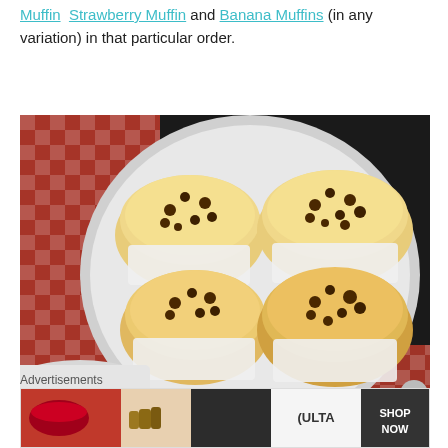Muffin Strawberry Muffin and Banana Muffins (in any variation) in that particular order.
[Figure (photo): Overhead photo of four chocolate chip muffins on a white plate, with a red and white checkered cloth, a white mug, and dark background.]
Advertisements
[Figure (photo): Advertisements banner showing Ulta beauty advertisement with images of makeup, eyes, lips, and SHOP NOW text.]